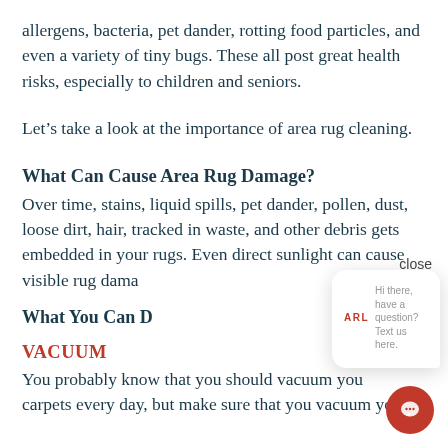allergens, bacteria, pet dander, rotting food particles, and even a variety of tiny bugs. These all post great health risks, especially to children and seniors.
Let’s take a look at the importance of area rug cleaning.
What Can Cause Area Rug Damage?
Over time, stains, liquid spills, pet dander, pollen, dust, loose dirt, hair, tracked in waste, and other debris gets embedded in your rugs. Even direct sunlight can cause visible rug dama
What You Can D
VACUUM
You probably know that you should vacuum your carpets every day, but make sure that you vacuum your
[Figure (screenshot): Chat widget popup with 'close' button, ARL logo, text 'Hi there, have a question? Text us here.' and a red circular chat button in bottom right.]